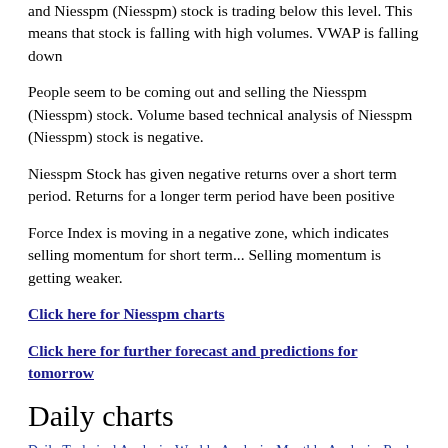and Niesspm (Niesspm) stock is trading below this level. This means that stock is falling with high volumes. VWAP is falling down
People seem to be coming out and selling the Niesspm (Niesspm) stock. Volume based technical analysis of Niesspm (Niesspm) stock is negative.
Niesspm Stock has given negative returns over a short term period. Returns for a longer term period have been positive
Force Index is moving in a negative zone, which indicates selling momentum for short term... Selling momentum is getting weaker.
Click here for Niesspm charts
Click here for further forecast and predictions for tomorrow
Daily charts
Daily Technical Analysis Weekly Analysis Monthly Analysis Renko chart MACD chart Bollinger Bands chart Stochastics charts Force Index charts
[Figure (screenshot): Dark themed chart header bar showing 'Daily Charts - munafa.co.com' on left and 'BSE 5-' on right, with OHLC data below: O: 3.62, H: 3.75]